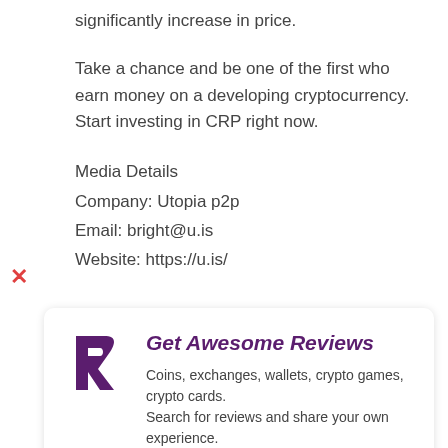significantly increase in price.
Take a chance and be one of the first who earn money on a developing cryptocurrency. Start investing in CRP right now.
Media Details
Company: Utopia p2p
Email: bright@u.is
Website: https://u.is/
[Figure (infographic): Advertisement box for 'Get Awesome Reviews' with a purple R logo, tagline about coins, exchanges, wallets, crypto games, crypto cards, and a 'GO TO REVAIN' button.]